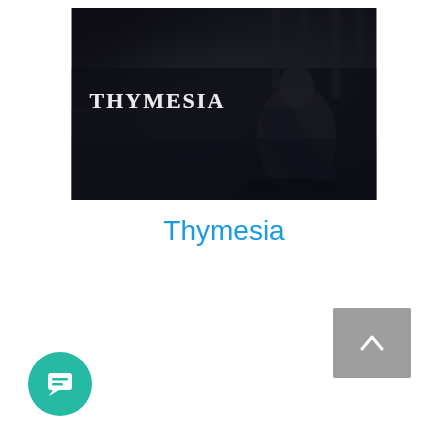[Figure (photo): Dark atmospheric game cover art for Thymesia showing a cloaked figure in a dark, foggy environment with the text 'THYMESIA' in white letters on the left side]
Thymesia